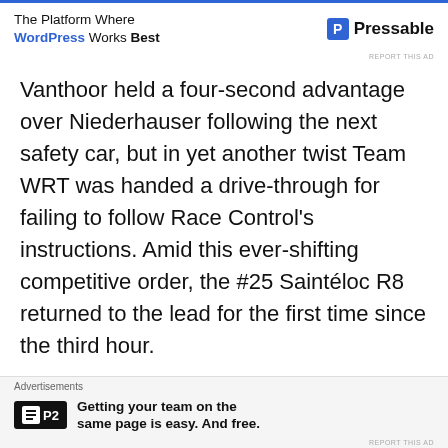[Figure (other): Top advertisement banner: 'The Platform Where WordPress Works Best' with Pressable logo]
Vanthoor held a four-second advantage over Niederhauser following the next safety car, but in yet another twist Team WRT was handed a drive-through for failing to follow Race Control's instructions. Amid this ever-shifting competitive order, the #25 Saintéloc R8 returned to the lead for the first time since the third hour.
There would be no change this time, however
[Figure (other): Bottom advertisement banner: P2 logo with text 'Getting your team on the same page is easy. And free.']